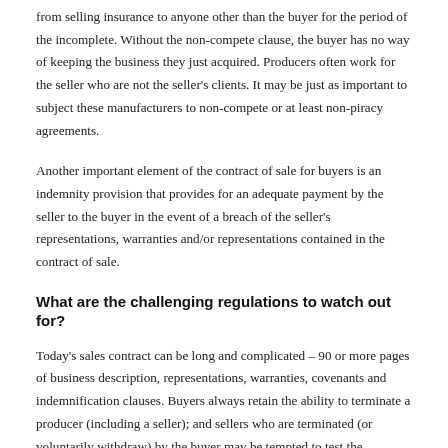from selling insurance to anyone other than the buyer for the period of the incomplete. Without the non-compete clause, the buyer has no way of keeping the business they just acquired. Producers often work for the seller who are not the seller's clients. It may be just as important to subject these manufacturers to non-compete or at least non-piracy agreements.
Another important element of the contract of sale for buyers is an indemnity provision that provides for an adequate payment by the seller to the buyer in the event of a breach of the seller's representations, warranties and/or representations contained in the contract of sale.
What are the challenging regulations to watch out for?
Today's sales contract can be long and complicated – 90 or more pages of business description, representations, warranties, covenants and indemnification clauses. Buyers always retain the ability to terminate a producer (including a seller); and sellers who are terminated (or voluntarily withdraw) by the buyer may be tempted to test the enforceability of the non-compete agreement. This can often lead to expensive litigation. Well